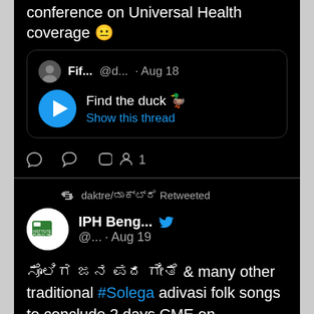conference on Universal Health coverage 😐
[Figure (screenshot): Quoted tweet from Fif... @d... Aug 18 with play button: Find the duck 🦆 Show this thread]
💬  ♡ 1
daktre/ಡಾಕ್ಟ್ರೆ Retweeted
[Figure (screenshot): IPH Beng... @... Aug 19 tweet with IPH Bengaluru avatar and Twitter bird icon]
ಸೊಲಿಗ ಜನ ಪದ ಗೀತೆ & many other traditional #Solega adivasi folk songs to conclude 2 days CME on #tribalhealth organized by CIMS #Chamarajanagar in collaboration with @CTRITH_Kar &